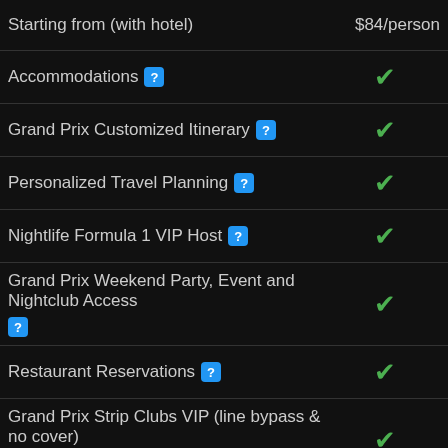| Feature | ? | Included |
| --- | --- | --- |
| Starting from (with hotel) |  | $84/person |
| Accommodations | ? | ✓ |
| Grand Prix Customized Itinerary | ? | ✓ |
| Personalized Travel Planning | ? | ✓ |
| Nightlife Formula 1 VIP Host | ? | ✓ |
| Grand Prix Weekend Party, Event and Nightclub Access | ? | ✓ |
| Restaurant Reservations | ? | ✓ |
| Grand Prix Strip Clubs VIP (line bypass & no cover) | ? | ✓ |
| NO HIDDEN FEES | ? | ✓ |
Call us at
1-866-221-5885